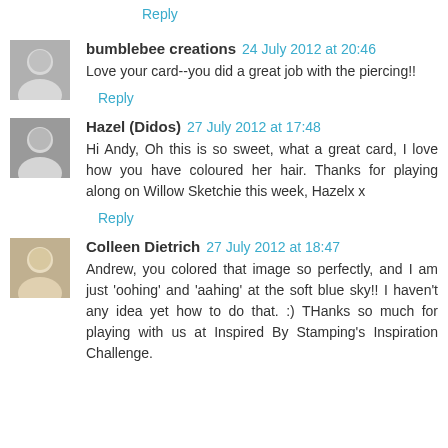Reply
bumblebee creations 24 July 2012 at 20:46
Love your card--you did a great job with the piercing!!
Reply
Hazel (Didos) 27 July 2012 at 17:48
Hi Andy, Oh this is so sweet, what a great card, I love how you have coloured her hair. Thanks for playing along on Willow Sketchie this week, Hazelx x
Reply
Colleen Dietrich 27 July 2012 at 18:47
Andrew, you colored that image so perfectly, and I am just 'oohing' and 'aahing' at the soft blue sky!! I haven't any idea yet how to do that. :) THanks so much for playing with us at Inspired By Stamping's Inspiration Challenge.